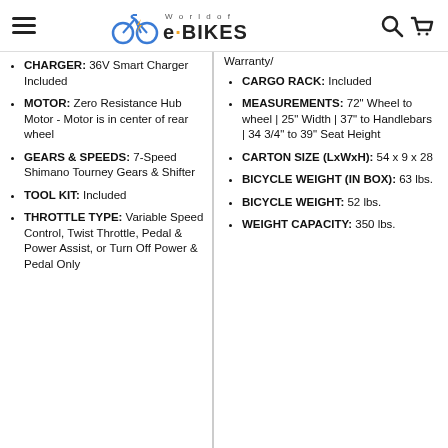World of e-BIKES
CHARGER: 36V Smart Charger Included
MOTOR: Zero Resistance Hub Motor - Motor is in center of rear wheel
GEARS & SPEEDS: 7-Speed Shimano Tourney Gears & Shifter
TOOL KIT: Included
THROTTLE TYPE: Variable Speed Control, Twist Throttle, Pedal & Power Assist, or Turn Off Power & Pedal Only
Warranty/
CARGO RACK: Included
MEASUREMENTS: 72" Wheel to wheel | 25" Width | 37" to Handlebars | 34 3/4" to 39" Seat Height
CARTON SIZE (LxWxH): 54 x 9 x 28
BICYCLE WEIGHT (IN BOX): 63 lbs.
BICYCLE WEIGHT: 52 lbs.
WEIGHT CAPACITY: 350 lbs.